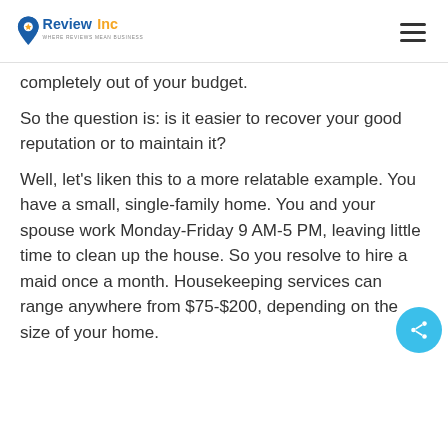ReviewInc — WHERE REVIEWS MEAN BUSINESS
completely out of your budget.
So the question is: is it easier to recover your good reputation or to maintain it?
Well, let's liken this to a more relatable example. You have a small, single-family home. You and your spouse work Monday-Friday 9 AM-5 PM, leaving little time to clean up the house. So you resolve to hire a maid once a month. Housekeeping services can range anywhere from $75-$200, depending on the size of your home.